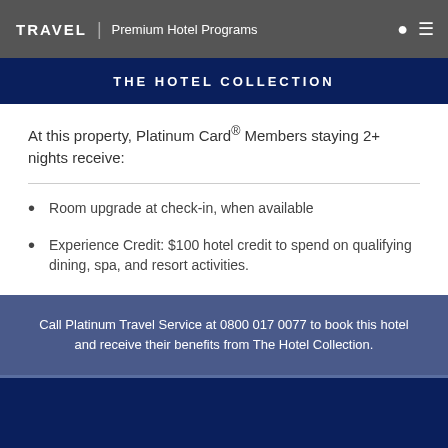TRAVEL | Premium Hotel Programs
THE HOTEL COLLECTION
At this property, Platinum Card® Members staying 2+ nights receive:
Room upgrade at check-in, when available
Experience Credit: $100 hotel credit to spend on qualifying dining, spa, and resort activities.
Call Platinum Travel Service at 0800 017 0077 to book this hotel and receive their benefits from The Hotel Collection.